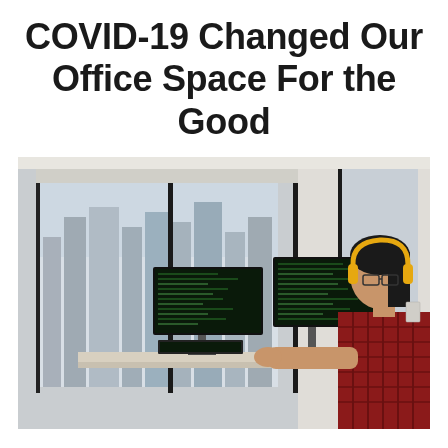COVID-19 Changed Our Office Space For the Good
[Figure (photo): A woman with yellow headphones and glasses wearing a red plaid shirt, working at a standing desk with multiple computer monitors displaying code, in a modern office with large windows overlooking a city skyline.]